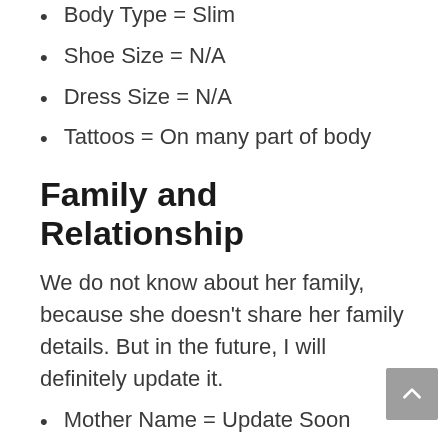Body Type = Slim
Shoe Size = N/A
Dress Size = N/A
Tattoos = On many part of body
Family and Relationship
We do not know about her family, because she doesn't share her family details. But in the future, I will definitely update it.
Mother Name = Update Soon